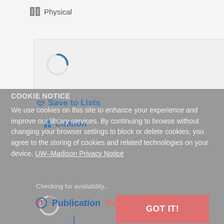Physical
[Figure (screenshot): Loading spinner (blue arc circle) inside a light grey content box]
Save to Lists
Citation
COOKIE NOTICE
We use cookies on this site to enhance your experience and improve our library services. By continuing to browse without changing your browser settings to block or delete cookies, you agree to the storing of cookies and related technologies on your device. UW–Madison Privacy Notice
Checking for availability...
[Figure (screenshot): Small loading spinner (grey arc circle)]
Publication Details
GOT IT!